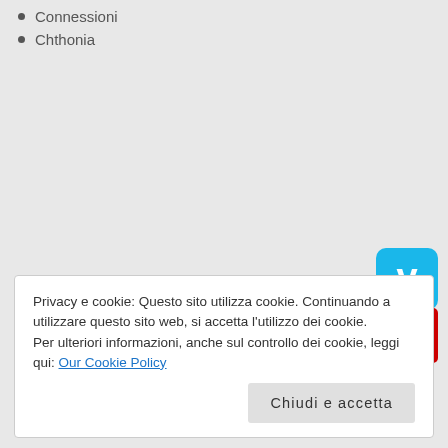Connessioni
Chthonia
[Figure (logo): Vimeo logo icon — blue rounded square with white V]
[Figure (logo): YouTube logo icon — red rectangle with You/Tube text]
Privacy e cookie: Questo sito utilizza cookie. Continuando a utilizzare questo sito web, si accetta l'utilizzo dei cookie.
Per ulteriori informazioni, anche sul controllo dei cookie, leggi qui: Our Cookie Policy
Chiudi e accetta